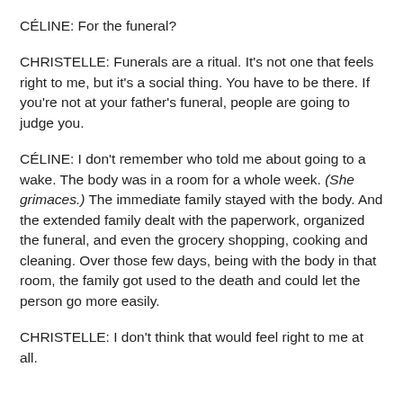CÉLINE: For the funeral?
CHRISTELLE: Funerals are a ritual. It's not one that feels right to me, but it's a social thing. You have to be there. If you're not at your father's funeral, people are going to judge you.
CÉLINE: I don't remember who told me about going to a wake. The body was in a room for a whole week. (She grimaces.) The immediate family stayed with the body. And the extended family dealt with the paperwork, organized the funeral, and even the grocery shopping, cooking and cleaning. Over those few days, being with the body in that room, the family got used to the death and could let the person go more easily.
CHRISTELLE: I don't think that would feel right to me at all.